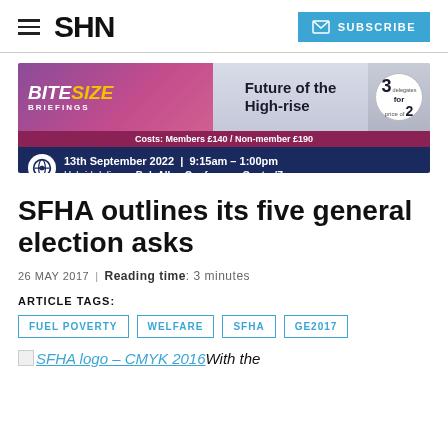SHN | SUBSCRIBE
[Figure (infographic): BITESIZE BRIEFINGS advertisement banner for 'Future of the High-rise' event. Costs: Members £140 / Non-member £190. 13th September 2022 | 9:15am – 1:00pm. Hybrid delivery: Bob Allan Conference Centre/Zoom. 3 delegates for price of 2.]
SFHA outlines its five general election asks
26 MAY 2017 | Reading time: 3 minutes
ARTICLE TAGS:
FUEL POVERTY
WELFARE
SFHA
GE2017
SFHA logo – CMYK 2016 With the